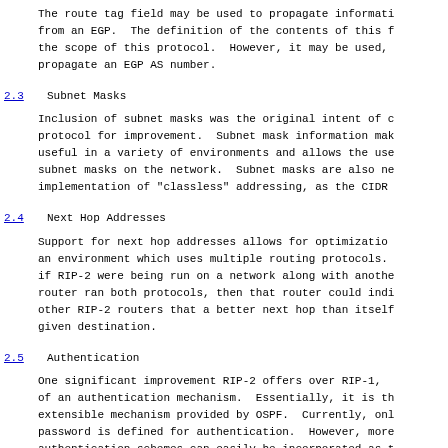The route tag field may be used to propagate informati from an EGP.  The definition of the contents of this f the scope of this protocol.  However, it may be used, propagate an EGP AS number.
2.3  Subnet Masks
Inclusion of subnet masks was the original intent of c protocol for improvement.  Subnet mask information mak useful in a variety of environments and allows the use subnet masks on the network.  Subnet masks are also ne implementation of "classless" addressing, as the CIDR
2.4  Next Hop Addresses
Support for next hop addresses allows for optimizatio an environment which uses multiple routing protocols. if RIP-2 were being run on a network along with anothe router ran both protocols, then that router could indi other RIP-2 routers that a better next hop than itself given destination.
2.5  Authentication
One significant improvement RIP-2 offers over RIP-1, of an authentication mechanism.  Essentially, it is th extensible mechanism provided by OSPF.  Currently, onl password is defined for authentication.  However, more authentication schemes can easily be incorporated as t defined.